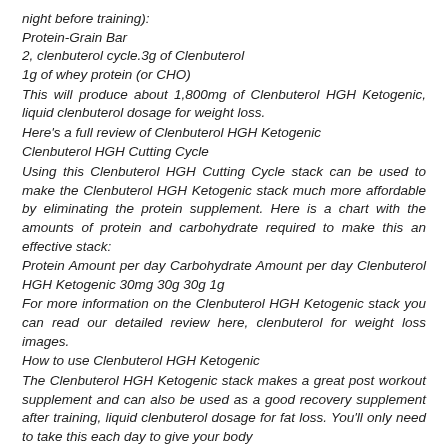night before training):
Protein-Grain Bar
2, clenbuterol cycle.3g of Clenbuterol
1g of whey protein (or CHO)
This will produce about 1,800mg of Clenbuterol HGH Ketogenic, liquid clenbuterol dosage for weight loss.
Here's a full review of Clenbuterol HGH Ketogenic
Clenbuterol HGH Cutting Cycle
Using this Clenbuterol HGH Cutting Cycle stack can be used to make the Clenbuterol HGH Ketogenic stack much more affordable by eliminating the protein supplement. Here is a chart with the amounts of protein and carbohydrate required to make this an effective stack:
Protein Amount per day Carbohydrate Amount per day Clenbuterol HGH Ketogenic 30mg 30g 30g 1g
For more information on the Clenbuterol HGH Ketogenic stack you can read our detailed review here, clenbuterol for weight loss images.
How to use Clenbuterol HGH Ketogenic
The Clenbuterol HGH Ketogenic stack makes a great post workout supplement and can also be used as a good recovery supplement after training, liquid clenbuterol dosage for fat loss. You'll only need to take this each day to give your body